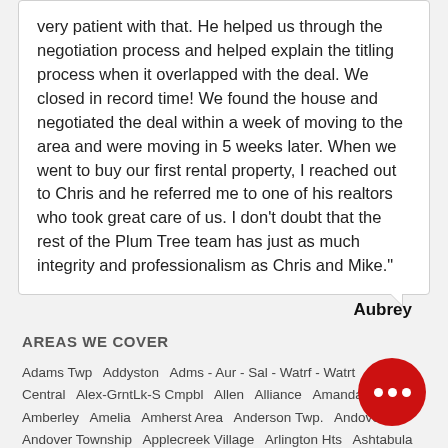very patient with that. He helped us through the negotiation process and helped explain the titling process when it overlapped with the deal. We closed in record time! We found the house and negotiated the deal within a week of moving to the area and were moving in 5 weeks later. When we went to buy our first rental property, I reached out to Chris and he referred me to one of his realtors who took great care of us. I don't doubt that the rest of the Plum Tree team has just as much integrity and professionalism as Chris and Mike."
Aubrey
AREAS WE COVER
Adams Twp   Addyston   Adms - Aur - Sal - Watrf - Watrt   Akron-Central   Alex-GrntLk-S Cmpbl   Allen   Alliance   Amanda   Amberley   Amelia   Amherst Area   Anderson Twp.   Andover   Andover Township   Applecreek Village   Arlington Hts   Ashtabula   Ashtabula Township   Atwater   Auburn   Au   Austinburg Township   Austintown   Avon   Avon Lake   Avondale   Bainbridge   Barberton   Batavia   Batavia Twp.   … Show More